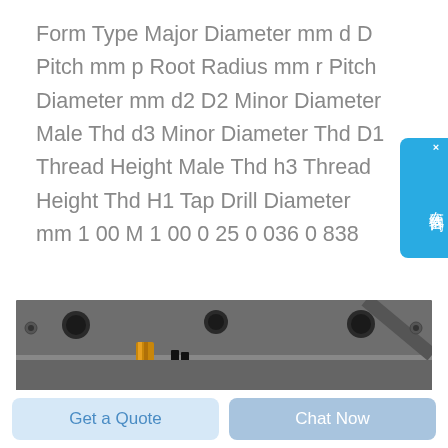Form Type Major Diameter mm d D Pitch mm p Root Radius mm r Pitch Diameter mm d2 D2 Minor Diameter Male Thd d3 Minor Diameter Thd D1 Thread Height Male Thd h3 Thread Height Thd H1 Tap Drill Diameter mm 1 00 M 1 00 0 25 0 036 0 838
[Figure (photo): Close-up photograph of industrial machining or drilling operation showing yellow/gold colored drill bit or cutting tool against grey metallic workpiece with holes]
Get a Quote
Chat Now